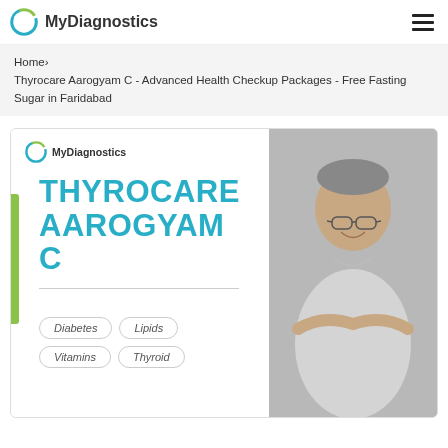[Figure (logo): MyDiagnostics logo with circular arc icon and text]
Home› Thyrocare Aarogyam C - Advanced Health Checkup Packages - Free Fasting Sugar in Faridabad
[Figure (illustration): Thyrocare Aarogyam C health package promotional banner with MyDiagnostics logo, large teal text reading THYROCARE AAROGYAM C, green vertical bar accent, pill tags for Diabetes, Lipids, Vitamins, Thyroid, and a photo of a smiling elderly man with glasses and folded arms on grey background]